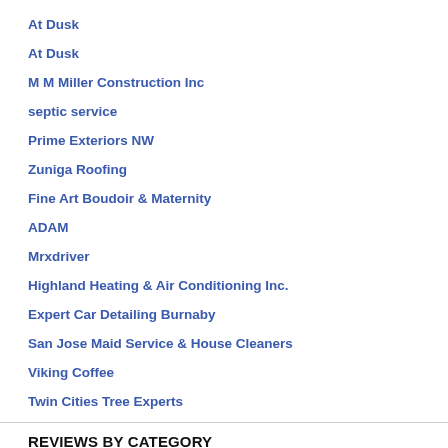At Dusk
At Dusk
M M Miller Construction Inc
septic service
Prime Exteriors NW
Zuniga Roofing
Fine Art Boudoir & Maternity
ADAM
Mrxdriver
Highland Heating & Air Conditioning Inc.
Expert Car Detailing Burnaby
San Jose Maid Service & House Cleaners
Viking Coffee
Twin Cities Tree Experts
REVIEWS BY CATEGORY